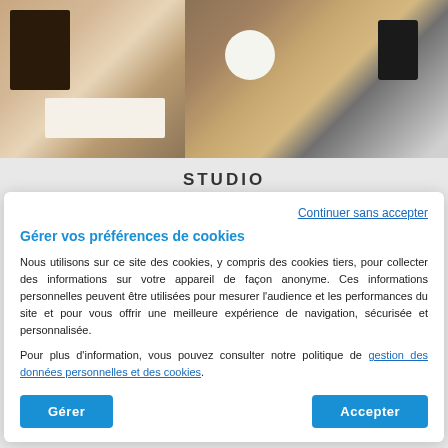[Figure (photo): Hotel room photo strip: left side shows a room with dark chair and white bed, right side shows kitchenette countertop with bowl, cups, kettle, and sink]
STUDIO
Continuer sans accepter
Gérer vos préférences de cookies
Nous utilisons sur ce site des cookies, y compris des cookies tiers, pour collecter des informations sur votre appareil de façon anonyme. Ces informations personnelles peuvent être utilisées pour mesurer l'audience et les performances du site et pour vous offrir une meilleure expérience de navigation, sécurisée et personnalisée.
Pour plus d'information, vous pouvez consulter notre politique de gestion des données personnelles et des cookies.
Gérer
Accepter